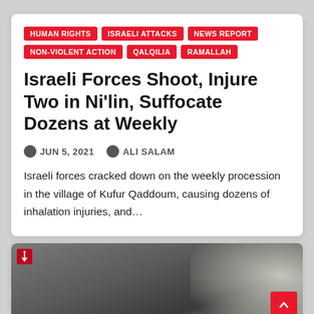HUMAN RIGHTS
ISRAELI ATTACKS
NEWS REPORT
NON-VIOLENT ACTION
QALQILIA
RAMALLAH
Israeli Forces Shoot, Injure Two in Ni'lin, Suffocate Dozens at Weekly
JUN 5, 2021   ALI SALAM
Israeli forces cracked down on the weekly procession in the village of Kufur Qaddoum, causing dozens of inhalation injuries, and…
[Figure (photo): Photo showing smoke and what appears to be an outdoor scene, with a small red logo in the top left corner]